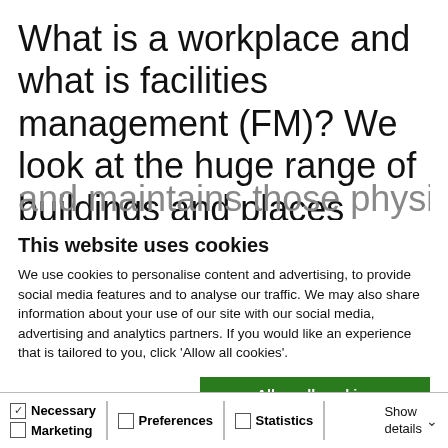What is a workplace and what is facilities management (FM)? We look at the huge range of buildings and places where people work, stay and visit – from offices to stadiums, hospitals to schools, shopping centres to museums – and how FM creates and maintains those physical spaces for the
This website uses cookies
We use cookies to personalise content and advertising, to provide social media features and to analyse our traffic. We may also share information about your use of our site with our social media, advertising and analytics partners. If you would like an experience that is tailored to you, click 'Allow all cookies'.
Allow all cookies
Allow selection
Use necessary cookies only
| ✓ Necessary | ☐ Preferences | ☐ Statistics | Show details ∨ |
| ☐ Marketing |  |  |  |